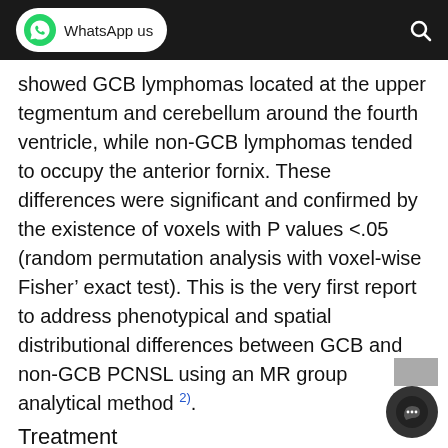WhatsApp us
showed GCB lymphomas located at the upper tegmentum and cerebellum around the fourth ventricle, while non-GCB lymphomas tended to occupy the anterior fornix. These differences were significant and confirmed by the existence of voxels with P values <.05 (random permutation analysis with voxel-wise Fisher’ exact test). This is the very first report to address phenotypical and spatial distributional differences between GCB and non-GCB PCNSL using an MR group analytical method 2).
Treatment
Craniotomy and tumor resection, if feasible, should be the initial line of management in